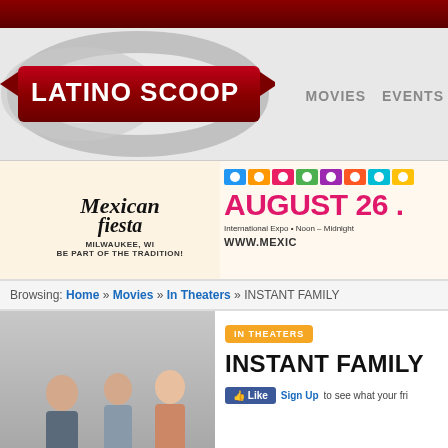LATINO SCOOP — MOVIES | EVENTS
[Figure (logo): Latino Scoop logo — red ribbon banner with white bold text 'LATINO SCOOP' and silver ring/infinity shape behind it]
[Figure (infographic): Mexican Fiesta advertisement banner — 'Mexican fiesta MILWAUKEE, WI BE PART OF THE TRADITION!' on left side, 'AUGUST 26.' in pink on right with colorful papel picado flags, 'International Expo • Noon – Midnight' and 'WWW.MEXIC...' text]
Browsing: Home » Movies » In Theaters » INSTANT FAMILY
[Figure (photo): Instant Family movie poster showing three people — a teenage girl, a young boy, and a woman — with text 'Just add chaos laughter awkwardness mistakes love']
IN THEATERS
INSTANT FAMILY
Like Sign Up to see what your fri